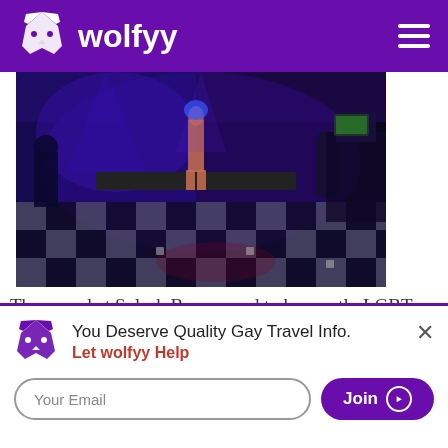wolfyy
[Figure (photo): Interior of Splash Bar nightclub with black and white checkered floor, blue and purple lighting, people dancing, performer on stage.]
The crowd at Splash Bar seemed to be mostly LGBT
You Deserve Quality Gay Travel Info.
Let wolfyy Help
Your Email
Join